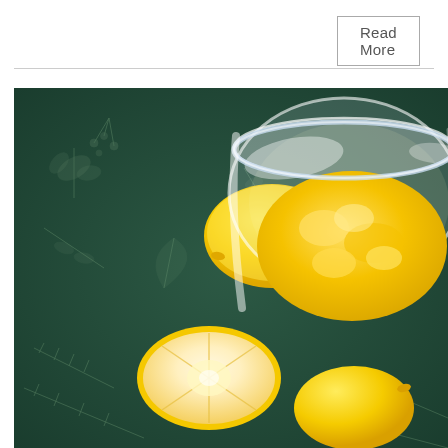Read More
[Figure (photo): Overhead photo of lemons and a glass jar filled with yellow lemon curd on a dark green floral patterned fabric background. There are whole lemons and a halved lemon showing the pale interior beside the open jar.]